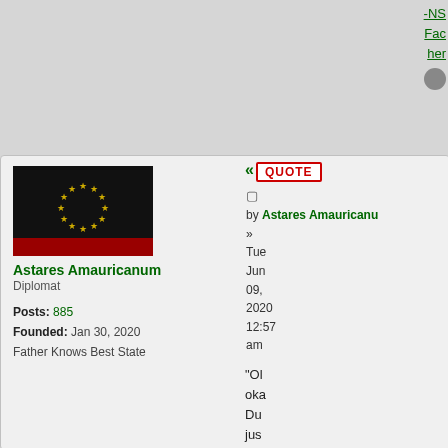-NS
Fac
her
[Figure (illustration): Flag with black background, red stripe at bottom, circle of gold/yellow stars in center]
Astares Amauricanum
Diplomat
Posts: 885
Founded: Jan 30, 2020
Father Knows Best State
QUOTE
by Astares Amauricanum
» Tue Jun 09, 2020 12:57 am
"Ol oka Du jus a sm mis the rep Jan wit a